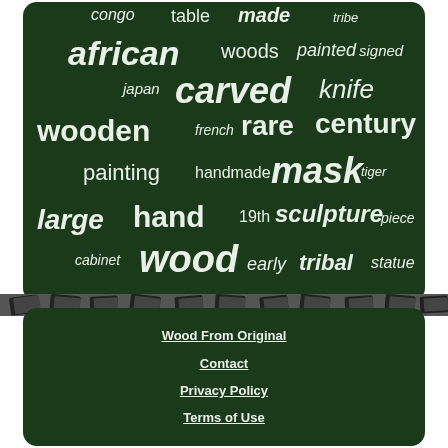[Figure (infographic): Word cloud on dark green background with terms related to wooden/antique items: congo, table, made, tribe, african, woods, painted, signed, japan, carved, knife, wooden, french, rare, century, painting, handmade, mask, tiger, large, hand, 19th, sculpture, piece, cabinet, wood, early, tribal, statue]
[Figure (infographic): Decorative strip showing playing cards between the two green blocks]
Wood From Original
Contact
Privacy Policy
Terms of Use